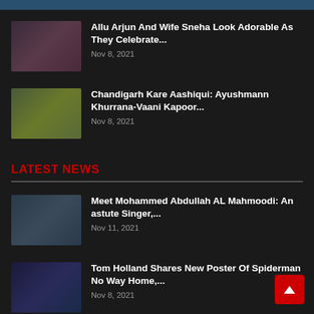[Figure (photo): Partial top bar with image thumbnail cut off]
Allu Arjun And Wife Sneha Look Adorable As They Celebrate...
Nov 8, 2021
Chandigarh Kare Aashiqui: Ayushmann Khurrana-Vaani Kapoor...
Nov 8, 2021
LATEST NEWS
Meet Mohammed Abdullah AL Mahmoodi: An astute Singer,...
Nov 11, 2021
Tom Holland Shares New Poster Of Spiderman No Way Home,...
Nov 8, 2021